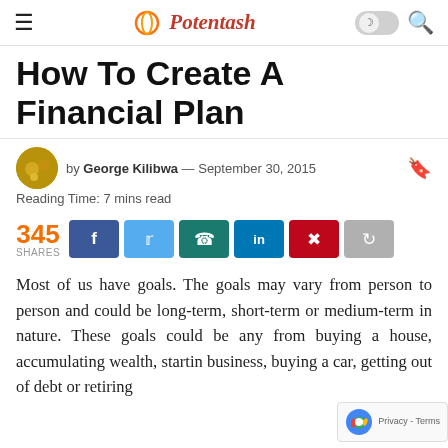Potentash
How To Create A Financial Plan
by George Kilibwa — September 30, 2015
Reading Time: 7 mins read
345 SHARES
Most of us have goals. The goals may vary from person to person and could be long-term, short-term or medium-term in nature. These goals could be any from buying a house, accumulating wealth, starting business, buying a car, getting out of debt or retiring